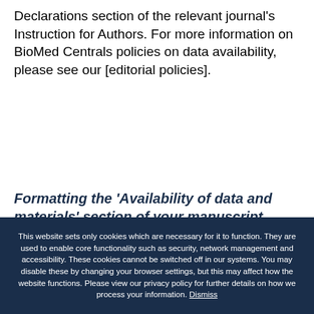Declarations section of the relevant journal's Instruction for Authors. For more information on BioMed Centrals policies on data availability, please see our [editorial policies].
Formatting the 'Availability of data and materials' section of your manuscript
This website sets only cookies which are necessary for it to function. They are used to enable core functionality such as security, network management and accessibility. These cookies cannot be switched off in our systems. You may disable these by changing your browser settings, but this may affect how the website functions. Please view our privacy policy for further details on how we process your information. Dismiss